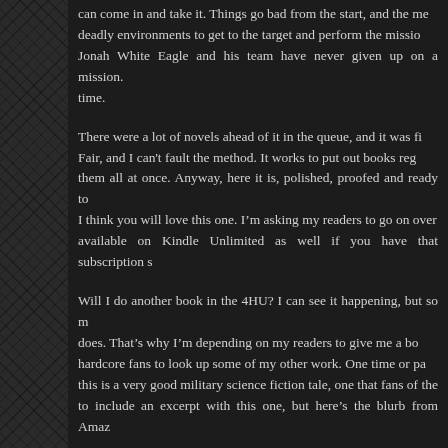can come in and take it. Things go bad from the start, and the men must traverse deadly environments to get to the target and perform the mission. Jonah White Eagle and his team have never given up on a mission. a time.
There were a lot of novels ahead of it in the queue, and it was fi Fair, and I can't fault the method. It works to put out books reg them all at once. Anyway, here it is, polished, proofed and ready to I think you will love this one. I'm asking my readers to go on over available on Kindle Unlimited as well if you have that subscription s
Will I do another book in the 4HU? I can see it happening, but so m does. That's why I'm depending on my readers to give me a bo hardcore fans to look up some of my other work. One time or pa this is a very good military science fiction tale, one that fans of the to include an excerpt with this one, but here's the blurb from Amaz
The mission Jonah White Eagle and his Fierce Eagle Company had t the middle of a 7.5-mile-high plateau, walk six miles to the edg 39,000-foot-high cliffs to the foothills of the canyon below. Noth the swamp they had to cross, full of large indigenous life forms snacks. And the rivers, full of other killers, they would have to c